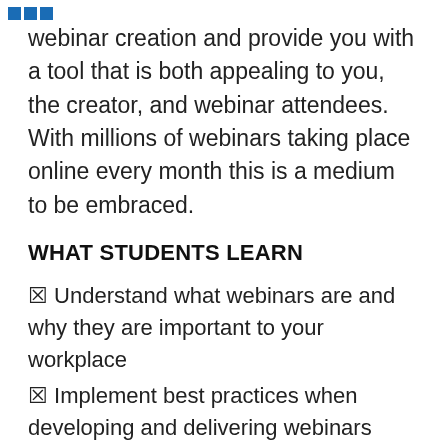webinar creation and provide you with a tool that is both appealing to you, the creator, and webinar attendees. With millions of webinars taking place online every month this is a medium to be embraced.
WHAT STUDENTS LEARN
✦ Understand what webinars are and why they are important to your workplace
✦ Implement best practices when developing and delivering webinars
✦ Choose appropriate structure and platform for your webinar
✦ Outline a webinar for your development and delivery